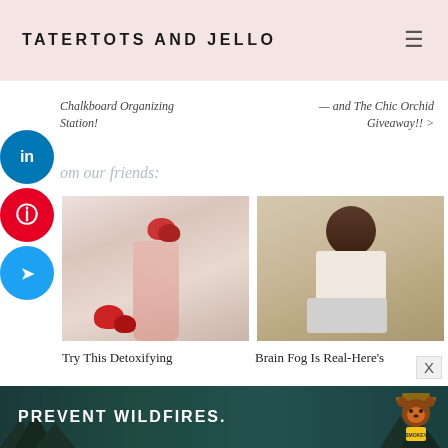TATERTOTS AND JELLO
Chalkboard Organizing Station!
— and The Chic Orchid Giveaway!! >
om our friends:
[Figure (photo): Pink strawberry smoothie in a tall glass with strawberries on top and beside it, against a light marble background]
[Figure (photo): Woman with curly hair rubbing her eyes/nose while sitting at a laptop in a home setting]
Try This Detoxifying
Brain Fog Is Real-Here's
[Figure (infographic): Smokey Bear advertisement banner: PREVENT WILDFIRES. with forest/mountains background and Smokey Bear character]